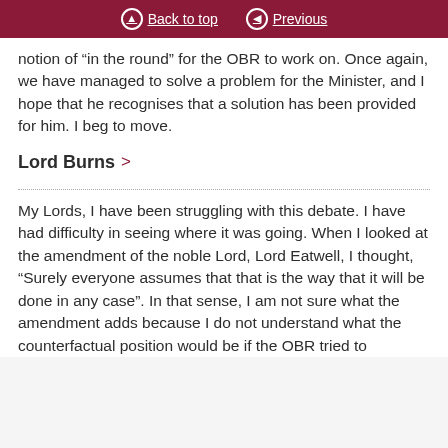Back to top | Previous
notion of “in the round” for the OBR to work on. Once again, we have managed to solve a problem for the Minister, and I hope that he recognises that a solution has been provided for him. I beg to move.
Lord Burns
My Lords, I have been struggling with this debate. I have had difficulty in seeing where it was going. When I looked at the amendment of the noble Lord, Lord Eatwell, I thought, “Surely everyone assumes that that is the way that it will be done in any case”. In that sense, I am not sure what the amendment adds because I do not understand what the counterfactual position would be if the OBR tried to